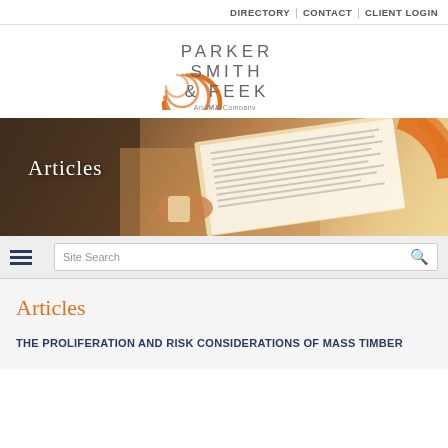DIRECTORY | CONTACT | CLIENT LOGIN
[Figure (logo): Parker Smith & Feek logo with orange circular swoosh graphic and text 'PARKER SMITH & FEEK An IMA Company']
[Figure (photo): Hero banner showing a person reading documents with coffee cup, overlaid with 'Articles' text and orange arc graphic on right]
Site Search
Articles
THE PROLIFERATION AND RISK CONSIDERATIONS OF MASS TIMBER